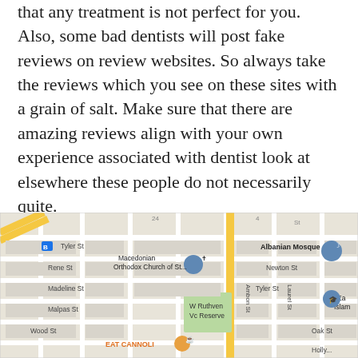that any treatment is not perfect for you. Also, some bad dentists will post fake reviews on review websites. So always take the reviews which you see on these sites with a grain of salt. Make sure that there are amazing reviews align with your own experience associated with dentist look at elsewhere these people do not necessarily quite. Remember you do not need to choose the first dentist that you find. When you are not happy about them in anyway, remain looking. Eventually you uncover the right dentist for you and your smile.
[Figure (map): Google Maps screenshot showing streets including Tyler St, Rene St, Madeline St, Malpas St, Wood St, Steane St, Newton St, Ambon St, Laurel St, Oak St, Holly-. Landmarks include Macedonian Orthodox Church of St..., Albanian Mosque, W Ruthven Vc Reserve, EAT CANNOLI, and East Islam (partially visible). A blue bus stop icon and orange route line are visible.]